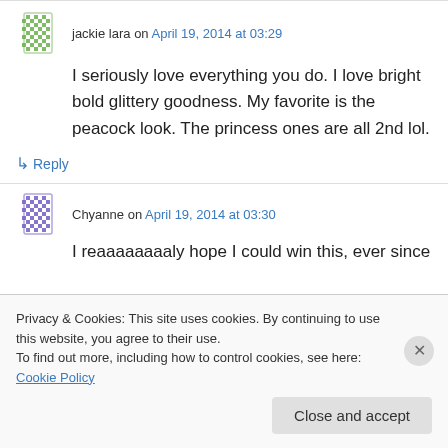jackie lara on April 19, 2014 at 03:29
I seriously love everything you do. I love bright bold glittery goodness. My favorite is the peacock look. The princess ones are all 2nd lol.
↳ Reply
Chyanne on April 19, 2014 at 03:30
I reaaaaaaaaly hope I could win this, ever since I
Privacy & Cookies: This site uses cookies. By continuing to use this website, you agree to their use.
To find out more, including how to control cookies, see here: Cookie Policy